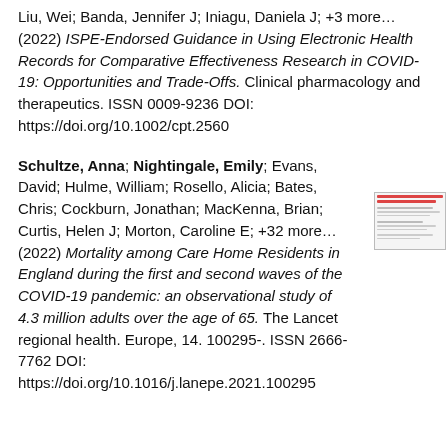Liu, Wei; Banda, Jennifer J; Iniagu, Daniela J; +3 more... (2022) ISPE-Endorsed Guidance in Using Electronic Health Records for Comparative Effectiveness Research in COVID-19: Opportunities and Trade-Offs. Clinical pharmacology and therapeutics. ISSN 0009-9236 DOI: https://doi.org/10.1002/cpt.2560
Schultze, Anna; Nightingale, Emily; Evans, David; Hulme, William; Rosello, Alicia; Bates, Chris; Cockburn, Jonathan; MacKenna, Brian; Curtis, Helen J; Morton, Caroline E; +32 more... (2022) Mortality among Care Home Residents in England during the first and second waves of the COVID-19 pandemic: an observational study of 4.3 million adults over the age of 65. The Lancet regional health. Europe, 14. 100295-. ISSN 2666-7762 DOI: https://doi.org/10.1016/j.lanepe.2021.100295
[Figure (screenshot): Small thumbnail image of a document, showing red and gray text lines on a white background.]